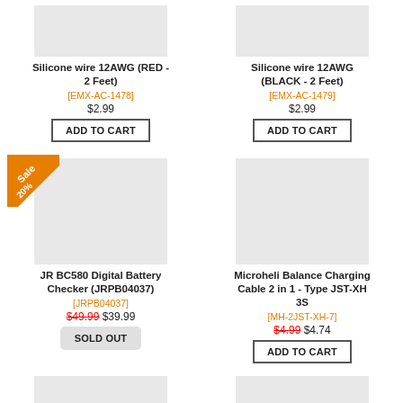[Figure (photo): Silicone wire 12AWG RED product image (gray placeholder)]
Silicone wire 12AWG (RED - 2 Feet)
[EMX-AC-1478]
$2.99
ADD TO CART
[Figure (photo): Silicone wire 12AWG BLACK product image (gray placeholder)]
Silicone wire 12AWG (BLACK - 2 Feet)
[EMX-AC-1479]
$2.99
ADD TO CART
[Figure (photo): JR BC580 Digital Battery Checker product image (gray placeholder) with Sale 20% badge]
JR BC580 Digital Battery Checker (JRPB04037)
[JRPB04037]
$49.99 $39.99
SOLD OUT
[Figure (photo): Microheli Balance Charging Cable product image (gray placeholder)]
Microheli Balance Charging Cable 2 in 1 - Type JST-XH 3S
[MH-2JST-XH-7]
$4.99 $4.74
ADD TO CART
[Figure (photo): Bottom left product image (gray placeholder, partially visible)]
[Figure (photo): Bottom right product image (gray placeholder, partially visible)]